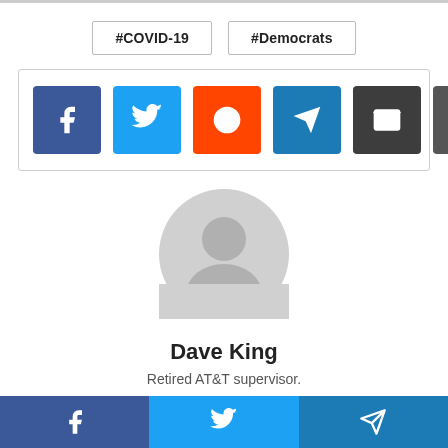#COVID-19
#Democrats
[Figure (infographic): Social share buttons: Facebook (blue), Twitter (light blue), Reddit (orange-red), Telegram (blue), Email (dark gray), Print (dark gray)]
[Figure (illustration): Generic user avatar — gray silhouette of a person in a circle]
Dave King
Retired AT&T supervisor.
[Figure (infographic): Home icon]
Facebook | Twitter | Telegram share buttons footer bar